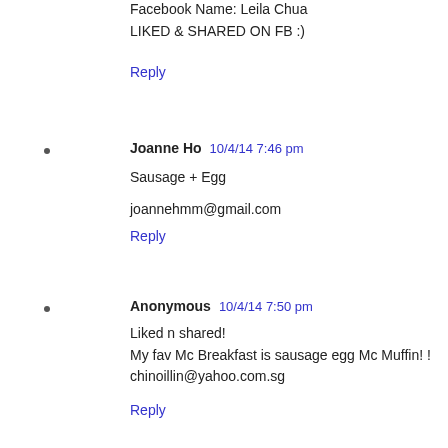Facebook Name: Leila Chua
LIKED & SHARED ON FB :)
Reply
Joanne Ho  10/4/14 7:46 pm
Sausage + Egg

joannehmm@gmail.com
Reply
Anonymous  10/4/14 7:50 pm
Liked n shared!
My fav Mc Breakfast is sausage egg Mc Muffin! !
chinoillin@yahoo.com.sg
Reply